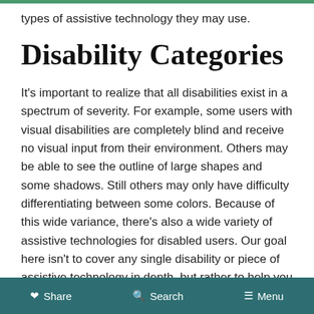types of assistive technology they may use.
Disability Categories
It’s important to realize that all disabilities exist in a spectrum of severity. For example, some users with visual disabilities are completely blind and receive no visual input from their environment. Others may be able to see the outline of large shapes and some shadows. Still others may only have difficulty differentiating between some colors. Because of this wide variance, there’s also a wide variety of assistive technologies for disabled users. Our goal here isn’t to cover any single disability or piece of assistive technology in depth, but rather to help you identify ways that specific disabilities may affect the user
Share   Search   Menu